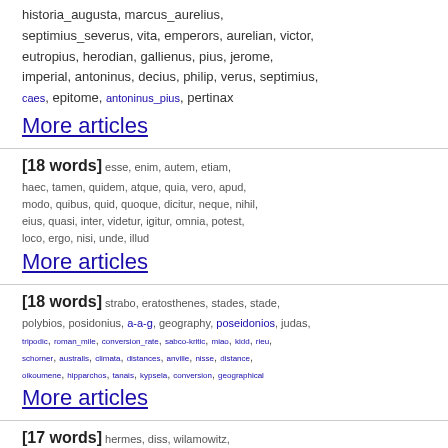historia_augusta, marcus_aurelius, septimius_severus, vita, emperors, aurelian, victor, eutropius, herodian, gallienus, pius, jerome, imperial, antoninus, decius, philip, verus, septimius, caes, epitome, antoninus_pius, pertinax
More articles
[18 words] esse, enim, autem, etiam, haec, tamen, quidem, atque, quia, vero, apud, modo, quibus, quid, quoque, dicitur, neque, nihil, eius, quasi, inter, videtur, igitur, omnia, potest, loco, ergo, nisi, unde, illud
More articles
[18 words] strabo, eratosthenes, stades, stade, polybios, posidonius, a-a-g, geography, poseidonios, judas, tripodic, roman_mile, conversion_rate, sabco-kritic, miao, kidd, rieu, schorner, australis, climata, distances, anville, nisse, distance, oikoumene, hipparchos, tanais, kypsela, conversion, geographical
More articles
[17 words] hermes, diss, wilamowitz, studien, philologus, untersuchungen, stuttgart, literatur, gottingen, commentary, edition, heidelberg,